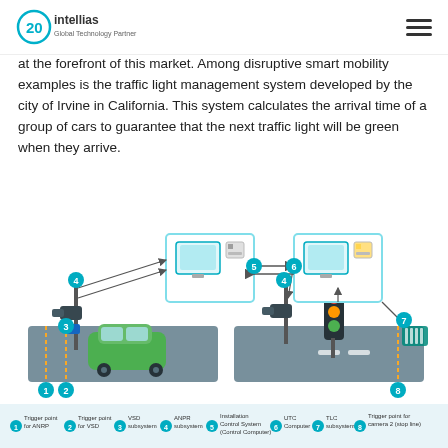Intellias – Global Technology Partner
at the forefront of this market. Among disruptive smart mobility examples is the traffic light management system developed by the city of Irvine in California. This system calculates the arrival time of a group of cars to guarantee that the next traffic light will be green when they arrive.
[Figure (engineering-diagram): Traffic light management system diagram showing two road sections: left section with a car, camera on pole (labeled 3-ANPR subsystem, 4-VSD subsystem), connected via arrows to a control computer (5-Installation Control System); right section with traffic lights, camera, connected to UTC Computer (6), TLC subsystem (7), and trigger points (1,2,8). Arrows show data flow between components.]
1 Trigger point for ANRP  2 Trigger point for VSD  3 VSD subsystem  4 ANPR subsystem  5 Installation Control System (Control Computer)  6 UTC Computer  7 TLC subsystem  8 Trigger point for camera 2 (stop line)